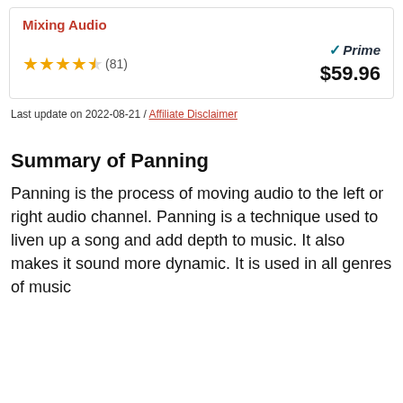Mixing Audio
★★★★½(81)   ✓Prime  $59.96
Last update on 2022-08-21 / Affiliate Disclaimer
Summary of Panning
Panning is the process of moving audio to the left or right audio channel. Panning is a technique used to liven up a song and add depth to music. It also makes it sound more dynamic. It is used in all genres of music